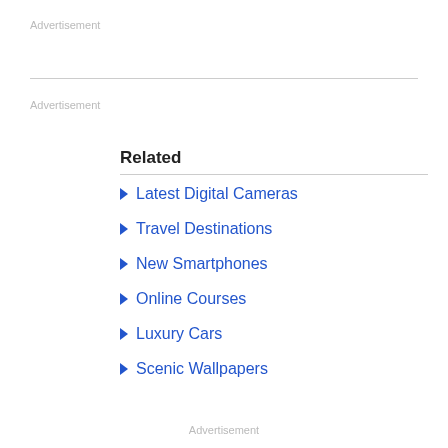Advertisement
Advertisement
Related
Latest Digital Cameras
Travel Destinations
New Smartphones
Online Courses
Luxury Cars
Scenic Wallpapers
Advertisement